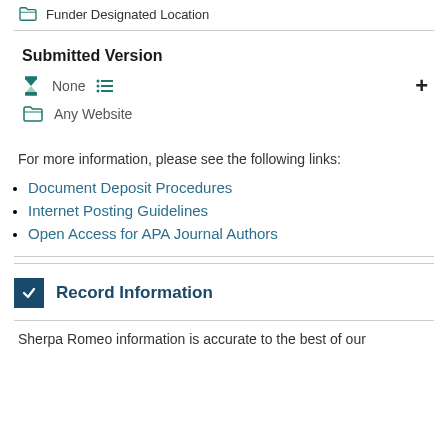Funder Designated Location
Submitted Version
None  Any Website
For more information, please see the following links:
Document Deposit Procedures
Internet Posting Guidelines
Open Access for APA Journal Authors
Record Information
Sherpa Romeo information is accurate to the best of our